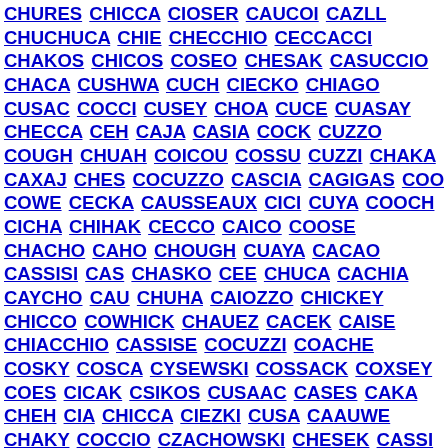CHURES CHICCA CIOSER CAUCOI CAZLL CHUCHUCA CHIE CHECCHIO CECCACCI CHAKOS CHICOS COSEO CHESAK CASUCCIO CHACA CUSHWA CUCH CIECKO CHIAGO CUSAC COCCI CUSEY CHOA CUCE CUASAY CHECCA CEH CAJA CASIA COCK CUZZO COUGH CHUAH COICOU COSSU CUZZI CHAKA CAXAJ CHES COCUZZO CASCIA CAGIGAS COO COWE CECKA CAUSSEAUX CICI CUYA COOCH CICHA CHIHAK CECCO CAICO COOSE CHACHO CAHO CHOUGH CUAYA CACAO CASSISI CAS CHASKO CEE CHUCA CACHIA CAYCHO CAU CHUHA CAIOZZO CHICKEY CHICCO COWHICK CHAUEZ CACEK CAISE CHIACCHIO CASSISE COCUZZI COACHE COSKY COSCA CYSEWSKI COSSACK COXSEY COES CICAK CSIKOS CUSAAC CASES CAKA CHEH CIA CHICCA CIEZKI CUSA CAAUWE CHAKY COCCIO CZACHOWSKI CHESEK CASSI COGO CIKA COAK CHIZ CAHAK CUSHWAY CHIGO CHICOSKY CIOCH CHASSEY CAJIAO CASIS